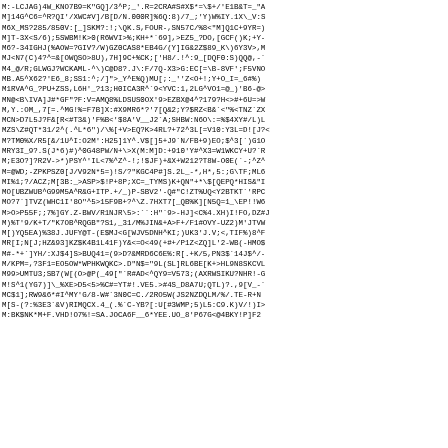M:-LCJAG)4W_KNO7B9=K"GQ]/3^P;_'.R=2CRA#S#X$*=\$+/'E1B&T=_"A
M]14G^C6=^R?QI</-$]*[_2_]&?Y2X/AP_\F"?2_%YV:'KHX^.N:T]OV75]
M;GKL&"P,E)[M>'/XWC#V]/B[D/N.000R]%6Q:8)/7_;'Y)W%IY.1X\_V:S
M6X_MS?285/850V:[_]SKM?:!;\QK.S,FOUR-,SN57C/%8<"M]Q1C+9YR=)
M]T-3X<S/6);5SWBM!K>0(R6WVI>%;KH+*`69],>EZ5_?DO,[GCF()K;+Y-
M6?-34IGHJ(%AOW=?GIV?/W)GZ0CAS8*EB4G/(Y]IG&2Z$89_K\)6Y3V>,M
MJ<N7(C)4?^=&[OWQSO>8U),7H]9C+%CK;['H8/.!^:9_[DQF0:S)QQ@,-`
M4_@/R;GLWGJ?WCKAML-^\)C@D8?.J\:F/7Q-X3>G:EC[=\B-8VF';F5VNO
MB.A5^X62?'E6_8;SS1:^;/]">_Y^E%Q)MU[;:_''Z<O+!;Y+O_I=_6#%)
M1RVA^G_?PU+ZSS,L6H'_?13;H0ICA3R^`9<YVC:1,2LG^VO1=@_)'B6-@>
MN@<B\IVA]J#*GF"?F:V=AMQ8%LDSUS0OX'9>EZBX@4^?179?H<>#+6U=>W
M,Y.:OM_,7[=.^MG!%=F7B]X:#X9MR6*?'7[Q&2;Y?$RZ<B&`<"%<TNZ`ZX
MCN>D7L5J?F&[R<#T3&)'F%B<'$8A'V__J2`A;SHBW:N6O\:=%$4XY#/L)L
MZS\Z#QT*31/2^(.^L*6")/\%[+V>EQ?K>4RL?+72^3L[=V10:Y3L=D![J?<
M?TM0%X/R5[&/1U^I:O2M':H25]1Y^.V$[]5+J9`N/FB+9)EO;$^3[`)G1O
MRY3I_9?.S(J*6)#)^0G48PW/N+\>X(M:M]D:+910'Y#^X3=W1WKCY+U?`R
M;E3O?]?R2V->*)PSY^'IL<7%^Z^-!;!$JF)+&X+W212?T8W-O0E(`-;^Z^
M=@WD;-ZPKPSZ0[J/V92N*5=)!S/?"KGC4P#]S.2L_-*,H*,5:;G\TF;ML6
MI%1;?/ACZ;M[3B:_>ASP>$!P+8P;XC=_TYMS)K+QN"+*\$[QEPQ*HIS&"I
MO[UBZWUB^G99M5A^R&G+ITP.+/_)P-SBV2'-Q#"C!ZT%UQ<Y2BTKT`'RPC
MO?7`]TVZ(WHC1I'8O"^5>15F9B+?^\Z.7HXT7[_QB%K][N5Q=1_\EP!!W6
M>O>P55F;;7%]GY.Z-BWV/R1NJR\5>:``:H"`9>-HJ]<C%4.XH)I!FO,DZ#J
M)%T'9/K+T/"K7OB^RQGB"?S1,_31/M%JIN&+A>F+/F1#OVY-UZ2)M'JTVW
M[)YQ5EA)%38J.JUFY@T-(E$MJ<G[WJV5DNH^KI;)UK3'J.V;<,TIF%)8^F
MR[I;N[J;HZ&93]KZ$K4B1L41F)Y&<=O<49(+#+/P1Z<ZQ]L'2-WB(-HMO$
M#-*+`]YH/:XJ$4]S>BUQ41=(9>D?&MRD6C6E%:R[.+K/5,PN3$`14J$^/-
M/KPM=,?3F1=EO5OW*WPHKWQKC>.D"N$="9L(SL]RL6BE[K+>HL9N8SKCVL
M99>UMTU3;SB7(W[(O>@P(_49["`R#AD<^QY9=V573;(AXRWSIKU?NHR!-G
M!S^1(YG7)]\_%XE>D5<5>%C#=YT#!.VE5.>#4S_D8A7U;QTL)?,.,9[V_-`
MC$1];RW9&6*#I^MY'G/8-W#`3N0C=C./2RO5W(JS2NZDQLM/%/.TE-R+N
M[S-(?:%3E3`&V)RIMQCX.4_(.%`C-YB?[:U[#3WMP;5)L5:C9.K)V/!)I>
M:BK$NK*M+F.VHD!O7%!=SA.JOCA6F__6*YEE.UO_8'P67G<@4BKY!P]F2